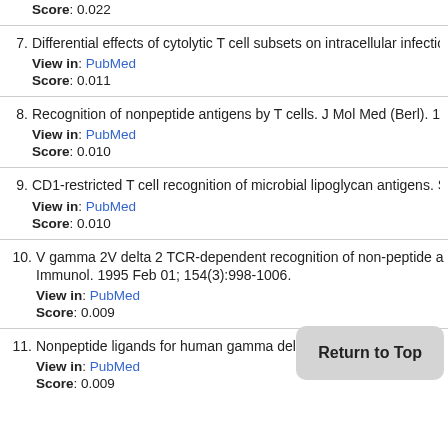Score: 0.022
7. Differential effects of cytolytic T cell subsets on intracellular infection. Sci
View in: PubMed
Score: 0.011
8. Recognition of nonpeptide antigens by T cells. J Mol Med (Berl). 1996 M
View in: PubMed
Score: 0.010
9. CD1-restricted T cell recognition of microbial lipoglycan antigens. Scienc
View in: PubMed
Score: 0.010
10. V gamma 2V delta 2 TCR-dependent recognition of non-peptide antigens
Immunol. 1995 Feb 01; 154(3):998-1006.
View in: PubMed
Score: 0.009
11. Nonpeptide ligands for human gamma delta T ce Sci U
View in: PubMed
Score: 0.009